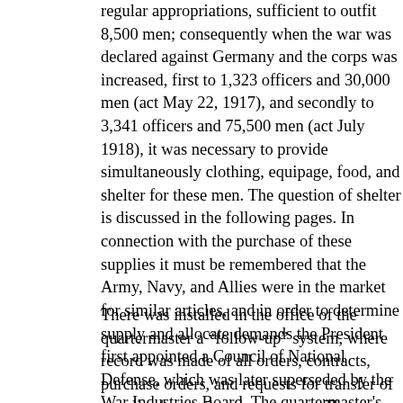regular appropriations, sufficient to outfit 8,500 men; consequently when the war was declared against Germany and the corps was increased, first to 1,323 officers and 30,000 men (act May 22, 1917), and secondly to 3,341 officers and 75,500 men (act July 1918), it was necessary to provide simultaneously clothing, equipage, food, and shelter for these men. The question of shelter is discussed in the following pages. In connection with the purchase of these supplies it must be remembered that the Army, Navy, and Allies were in the market for similar articles, and in order to determine supply and allocate demands the President first appointed a Council of National Defense, which was later superseded by the War Industries Board. The quartermaster's department had representatives in daily attendance at the various meetings of the committees of the Council of National Defense, and later the War Industries Board. All of the above-mentioned supplies, as far as practicable, were purchased in the usual manner, by the bid and tender plan, only those articles on which no bids were received or those controlled by the War Industries Board being allocated.
There was installed in the office of the quartermaster a "follow-up" system, where record was made of all orders, contracts, purchase orders, and requests for transfer of supplies from other departments. The function of this section was to see that the supplies were delivered in accordance with contract obligations and trace deliveries. The section also maintained a close relationship with